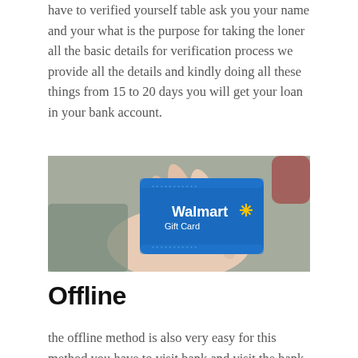have to verified yourself table ask you your name and your what is the purpose for taking the loner all the basic details for verification process we provide all the details and kindly doing all these things from 15 to 20 days you will get your loan in your bank account.
[Figure (photo): A person holding a blue Walmart Gift Card with the Walmart logo and spark icon visible on the card.]
Offline
the offline method is also very easy for this method you have to visit bank and visit the bank take a form